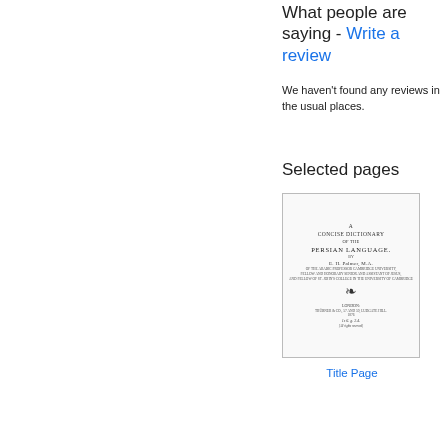What people are saying - Write a review
We haven't found any reviews in the usual places.
Selected pages
[Figure (illustration): Thumbnail image of the title page of Concise Dictionary of the Persian Language by E.H. Palmer, M.A., published by Trübner & Co., London]
Title Page